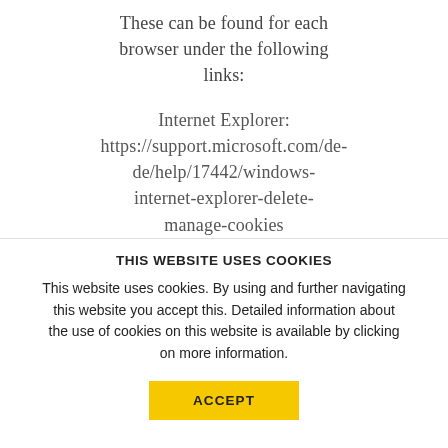These can be found for each browser under the following links:
Internet Explorer:
https://support.microsoft.com/de-de/help/17442/windows-internet-explorer-delete-manage-cookies
Firefox:
THIS WEBSITE USES COOKIES
This website uses cookies. By using and further navigating this website you accept this. Detailed information about the use of cookies on this website is available by clicking on more information.
ACCEPT